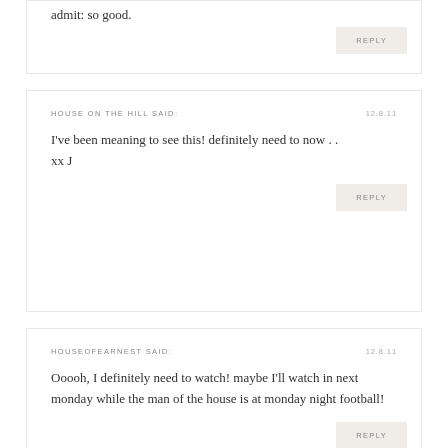admit: so good.
REPLY
HOUSE ON THE HILL SAID:
12.8.11
I've been meaning to see this! definitely need to now . . xx J
REPLY
HOUSEOFEARNEST SAID:
12.8.11
Ooooh, I definitely need to watch! maybe I'll watch in next monday while the man of the house is at monday night football!
REPLY